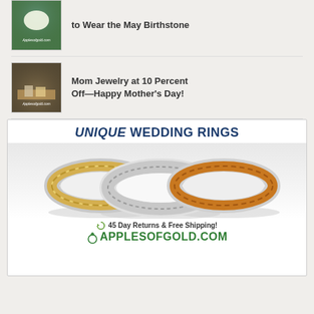[Figure (photo): Thumbnail image of birthstone jewelry on green background with applesofgold.com watermark]
to Wear the May Birthstone
[Figure (photo): Thumbnail image of mother's day jewelry on wooden surface with applesofgold.com watermark]
Mom Jewelry at 10 Percent Off—Happy Mother's Day!
[Figure (illustration): Advertisement for Applesofgold.com featuring UNIQUE WEDDING RINGS headline, View button, three decorative wedding rings (braided gold, vintage scroll, Celtic pattern), and footer text: 45 Day Returns & Free Shipping! APPLESOFGOLD.COM]